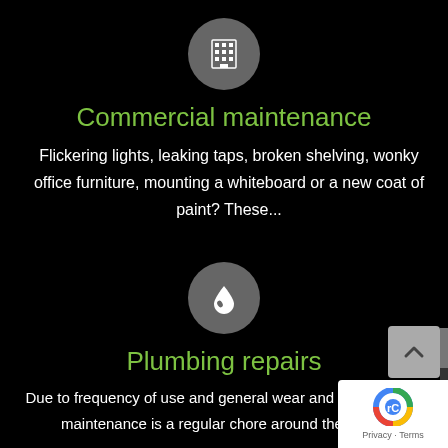[Figure (illustration): Gray circular icon with a building/office grid symbol inside]
Commercial maintenance
Flickering lights, leaking taps, broken shelving, wonky office furniture, mounting a whiteboard or a new coat of paint? These...
[Figure (illustration): Gray circular icon with a water drop symbol inside]
Plumbing repairs
Due to frequency of use and general wear and tear, plumbing maintenance is a regular chore around the home...